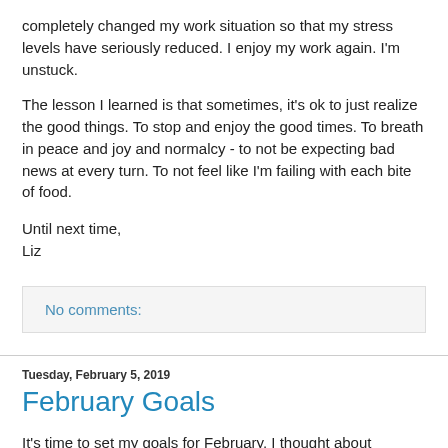completely changed my work situation so that my stress levels have seriously reduced. I enjoy my work again. I'm unstuck.
The lesson I learned is that sometimes, it's ok to just realize the good things. To stop and enjoy the good times. To breath in peace and joy and normalcy - to not be expecting bad news at every turn. To not feel like I'm failing with each bite of food.
Until next time,
Liz
No comments:
Tuesday, February 5, 2019
February Goals
It's time to set my goals for February. I thought about